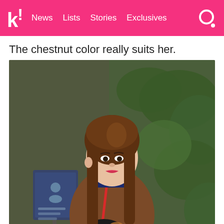k! News Lists Stories Exclusives
The chestnut color really suits her.
[Figure (photo): A young woman with long chestnut-brown hair wearing a brown top with a navy blue collar and a red crossbody bag, standing in front of a green leafy wall with a blue digital display screen visible in the background.]